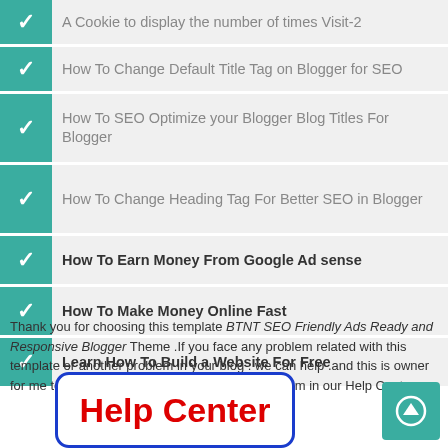A Cookie to display the number of times Visit-2
How To Change Default Title Tag on Blogger for SEO
How To SEO Optimize your Blogger Blog Titles For Blogger
How To Change Heading Tag For Better SEO in Blogger
How To Earn Money From Google Ad sense
How To Make Money Online Fast
Learn How To Build a Website For Free
Thank you for choosing this template BTNT SEO Friendly Ads Ready and Responsive Blogger Theme .If you face any problem related with this template or another problem in your blog . we can help .and this is owner for me to do your task .you can tell us your problem in our Help Center .
[Figure (other): Help Center button/banner with blue border and red bold text reading 'Help Center']